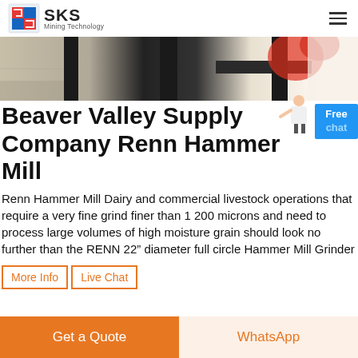SKS Mining Technology
[Figure (photo): Close-up photo of a hammer mill grinder metal components, showing black metal frame and structural parts against a light background with orange/red elements]
Beaver Valley Supply Company Renn Hammer Mill
Renn Hammer Mill Dairy and commercial livestock operations that require a very fine grind finer than 1 200 microns and need to process large volumes of high moisture grain should look no further than the RENN 22” diameter full circle Hammer Mill Grinder
More Info
Live Chat
Get a Quote
WhatsApp